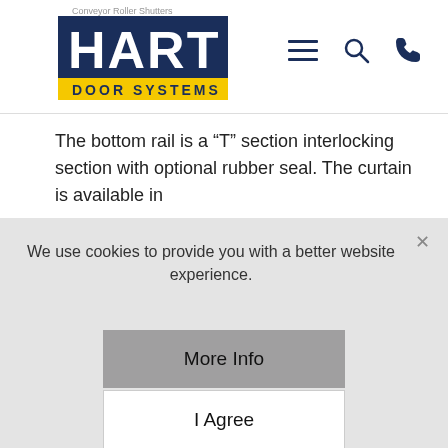Conveyor Roller Shutters
[Figure (logo): Hart Door Systems logo — white HART text on dark navy background with yellow DOOR SYSTEMS banner below]
The bottom rail is a “T” section interlocking section with optional rubber seal. The curtain is available in
We use cookies to provide you with a better website experience.
More Info
I Agree